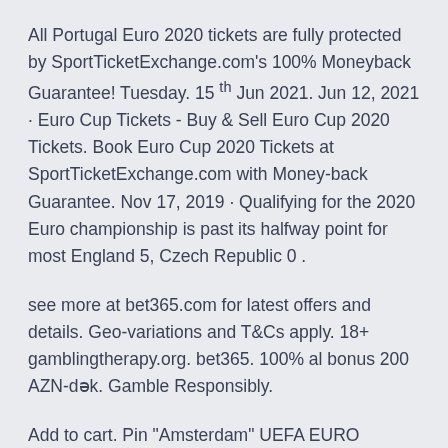All Portugal Euro 2020 tickets are fully protected by SportTicketExchange.com's 100% Moneyback Guarantee! Tuesday. 15 th Jun 2021. Jun 12, 2021 · Euro Cup Tickets - Buy & Sell Euro Cup 2020 Tickets. Book Euro Cup 2020 Tickets at SportTicketExchange.com with Money-back Guarantee. Nov 17, 2019 · Qualifying for the 2020 Euro championship is past its halfway point for most England 5, Czech Republic 0 .
see more at bet365.com for latest offers and details. Geo-variations and T&Cs apply. 18+ gamblingtherapy.org. bet365. 100% al bonus 200 AZN-dək. Gamble Responsibly.
Add to cart. Pin "Amsterdam" UEFA EURO 2020™. Dec 02, 2018 · Scotland will face the world's top-ranked